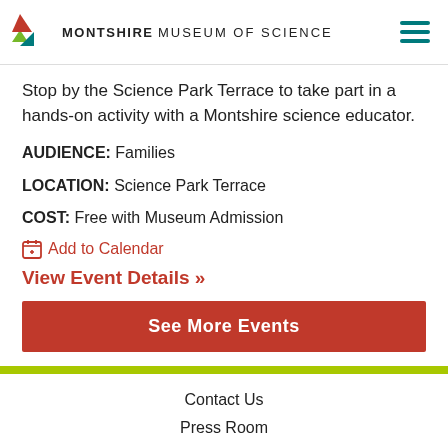MONTSHIRE MUSEUM OF SCIENCE
Stop by the Science Park Terrace to take part in a hands-on activity with a Montshire science educator.
AUDIENCE: Families
LOCATION: Science Park Terrace
COST: Free with Museum Admission
Add to Calendar
View Event Details »
See More Events
Contact Us
Press Room
Join Our Team